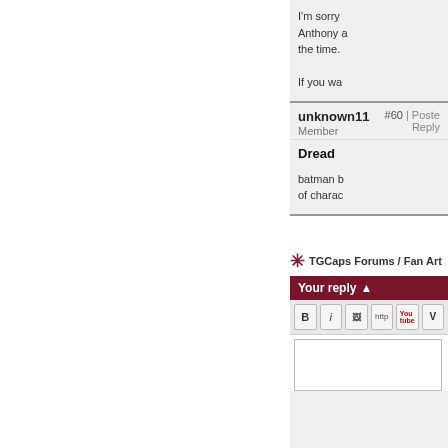I'm sorry Anthony a the time. If you wa
unknown11
Member
#60 | Poste Reply
Dread
batman b of charac
TGCaps Forums / Fan Art
Your reply ↑
[Figure (screenshot): Forum post reply toolbar with Bold, Italic, Image, HTTP link, YouTube, and Vimeo buttons]
[Figure (screenshot): Reply text input area - empty white textarea]